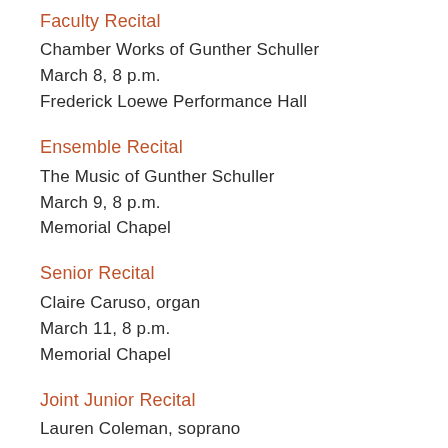Faculty Recital
Chamber Works of Gunther Schuller
March 8, 8 p.m.
Frederick Loewe Performance Hall
Ensemble Recital
The Music of Gunther Schuller
March 9, 8 p.m.
Memorial Chapel
Senior Recital
Claire Caruso, organ
March 11, 8 p.m.
Memorial Chapel
Joint Junior Recital
Lauren Coleman, soprano
Fallon Nunes, soprano
March 19, 6:30 p.m.